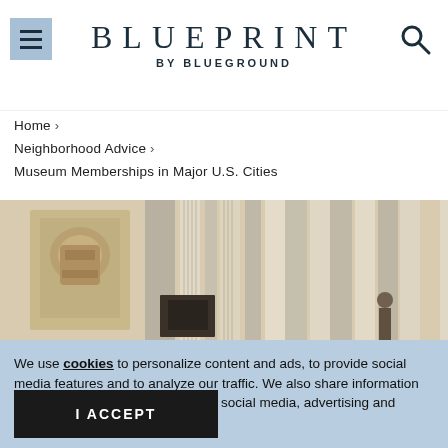BLUEPRINT BY BLUEGROUND
Home >
Neighborhood Advice >
Museum Memberships in Major U.S. Cities
[Figure (photo): Ornate classical building interior with columns and decorative stonework]
We use cookies to personalize content and ads, to provide social media features and to analyze our traffic. We also share information about your use of our site with our social media, advertising and analytics partners.
I ACCEPT